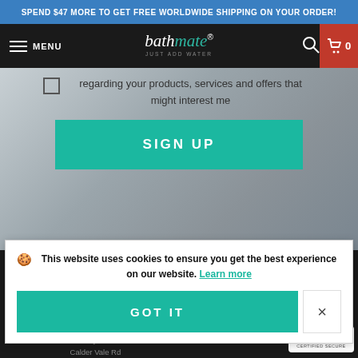SPEND $47 MORE TO GET FREE WORLDWIDE SHIPPING ON YOUR ORDER!
[Figure (screenshot): Bathmate website navigation bar with hamburger menu, logo, search icon, and cart icon]
regarding your products, services and offers that might interest me
[Figure (screenshot): SIGN UP button in teal/green color]
[Figure (screenshot): Cookie consent banner: This website uses cookies to ensure you get the best experience on our website. Learn more. GOT IT button.]
DX Products LTD
Unit 1 Horbury Junct Ind Est
Calder Vale Rd